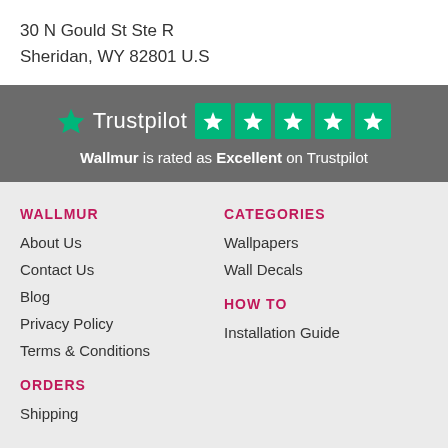30 N Gould St Ste R
Sheridan, WY 82801 U.S
[Figure (logo): Trustpilot logo with 5 green stars and tagline: Wallmur is rated as Excellent on Trustpilot]
WALLMUR
About Us
Contact Us
Blog
Privacy Policy
Terms & Conditions
CATEGORIES
Wallpapers
Wall Decals
ORDERS
Shipping
HOW TO
Installation Guide